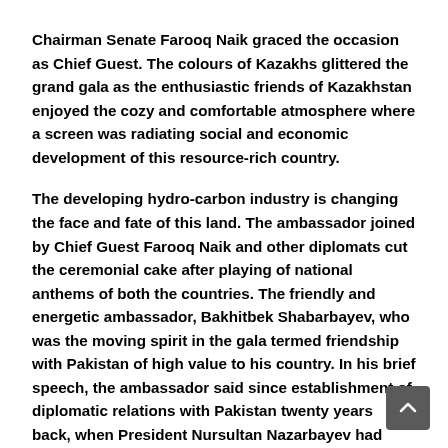Chairman Senate Farooq Naik graced the occasion as Chief Guest. The colours of Kazakhs glittered the grand gala as the enthusiastic friends of Kazakhstan enjoyed the cozy and comfortable atmosphere where a screen was radiating social and economic development of this resource-rich country.
The developing hydro-carbon industry is changing the face and fate of this land. The ambassador joined by Chief Guest Farooq Naik and other diplomats cut the ceremonial cake after playing of national anthems of both the countries. The friendly and energetic ambassador, Bakhitbek Shabarbayev, who was the moving spirit in the gala termed friendship with Pakistan of high value to his country. In his brief speech, the ambassador said since establishment of diplomatic relations with Pakistan twenty years back, when President Nursultan Nazarbayev had made his official visit to Islamabad, relations between both the friendly and brotherly countries have been developing on the principles of equal partnership and mutually beneficial cooperation in all fields.